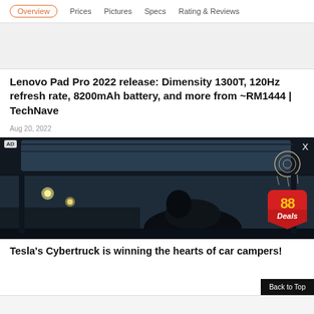Overview | Prices | Pictures | Specs | Rating & Reviews
[Figure (other): Gray placeholder advertisement banner]
Lenovo Pad Pro 2022 release: Dimensity 1300T, 120Hz refresh rate, 8200mAh battery, and more from ~RM1444 | TechNave
Aug 20, 2022
[Figure (photo): Advertisement image showing interior of Tesla Cybertruck vehicle with dark headliner and car camping setup. AD tag in top-left corner, X close button top-right, 88 Deals badge bottom-right.]
Tesla’s Cybertruck is winning the hearts of car campers!
Back to Top